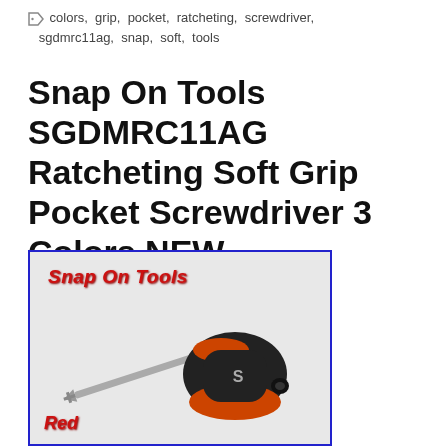colors, grip, pocket, ratcheting, screwdriver, sgdmrc11ag, snap, soft, tools
Snap On Tools SGDMRC11AG Ratcheting Soft Grip Pocket Screwdriver 3 Colors NEW
[Figure (photo): Photo of a Snap On Tools ratcheting soft grip pocket screwdriver in red color, with the bit removed and shown separately. The image has 'Snap On Tools' in red italic bold text at the top and 'Red' in red italic bold text at the bottom left. The screwdriver handle is black and red/orange with a silver S logo.]